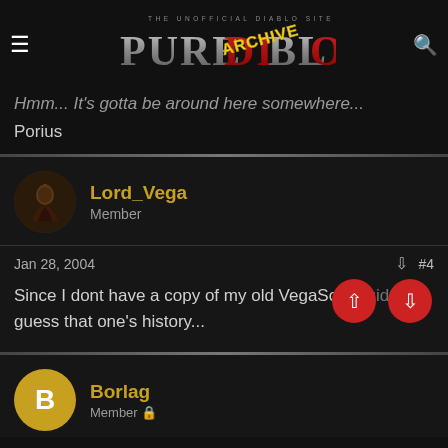PureDiablo Archive - The Unofficial Diablo Site
Hmm... It's gotta be around here somewhere...
Porius
Lord_Vega
Member
Jan 28, 2004  #4
Since I dont have a copy of my old VegaSorc guide I guess that one's history...
Borlag
Member